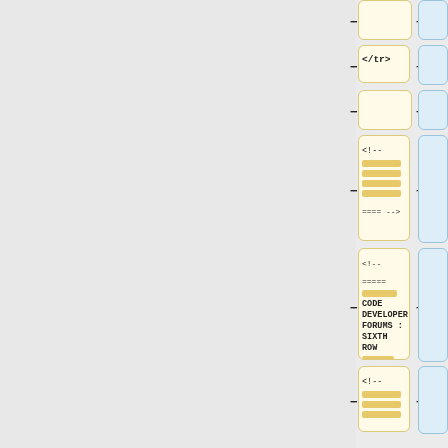[Figure (screenshot): A diff/comparison UI showing pairs of left (yellow, warm) and right (blue) boxes with minus and plus buttons. Left boxes contain HTML code snippets and comments with highlighted equals-sign lines. Rows show: empty boxes, a box with '</tr>' tag, empty boxes, a box with '<!-- ============ -->' comment block, a box with '<!-- ===== CODE DEVELOPER'S FORUMS : SIXTH ROW ===== -->' comment, and a partially visible box with '<!-- ============' at the bottom.]